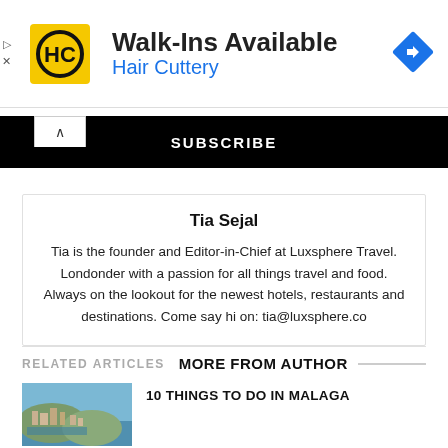[Figure (infographic): Hair Cuttery advertisement banner with yellow/black HC logo, text 'Walk-Ins Available' in bold and 'Hair Cuttery' in blue, blue diamond navigation icon on right.]
SUBSCRIBE
Tia Sejal
Tia is the founder and Editor-in-Chief at Luxsphere Travel. Londonder with a passion for all things travel and food. Always on the lookout for the newest hotels, restaurants and destinations. Come say hi on: tia@luxsphere.co
RELATED ARTICLES   MORE FROM AUTHOR
[Figure (photo): Thumbnail photo of Malaga coastal city with harbor and buildings on hillside.]
10 THINGS TO DO IN MALAGA